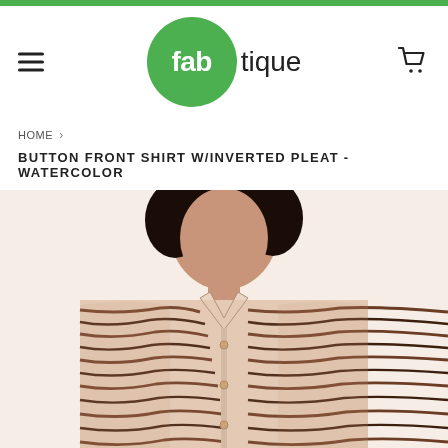[Figure (logo): Fabtique logo with green circle and text]
HOME › BUTTON FRONT SHIRT W/INVERTED PLEAT - WATERCOLOR
BUTTON FRONT SHIRT W/INVERTED PLEAT - WATERCOLOR
[Figure (photo): Woman wearing a watercolor zebra-stripe patterned button-front shirt with inverted pleat, shown from waist up, with curly dark hair]